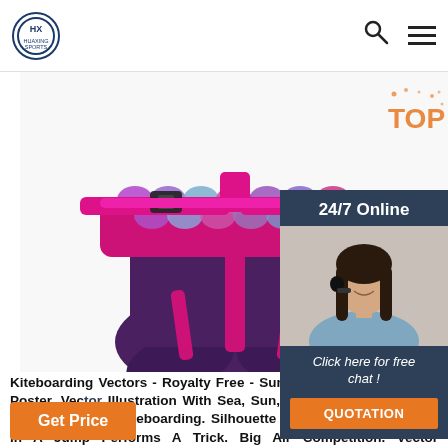HUAXING SPORTS
[Figure (photo): Purple and pink kiteboarding/wakeboarding harness with colorful scale pattern on waistband, shown front view with buckles and straps]
[Figure (photo): 24/7 Online chat widget with woman wearing headset, dark navy background, 'Click here for free chat!' text and orange QUOTATION button]
Kiteboarding Vectors - Royalty Free - Summer Time Kiteboarding Poster. Vector Illustration With Sea, Sun, Ocean, Fich, Kite, Sun. Kitesurfing And Kiteboarding. Silhouette Of A Kitesurfer. Woman In A Jump Performs A Trick. Big Air Competition. Vector Illustration. Thanks For Watching. Kitesurfing And Kiteboarding.
Get Price